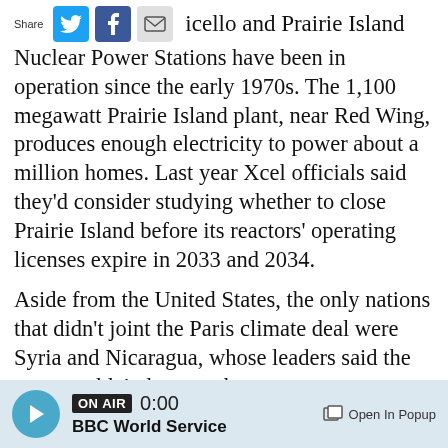Share [Twitter] [Facebook] [Email] icello and Prairie Island Nuclear Power Stations have been in operation since the early 1970s.
icello and Prairie Island Nuclear Power Stations have been in operation since the early 1970s. The 1,100 megawatt Prairie Island plant, near Red Wing, produces enough electricity to power about a million homes. Last year Xcel officials said they'd consider studying whether to close Prairie Island before its reactors' operating licenses expire in 2033 and 2034.
Aside from the United States, the only nations that didn't joint the Paris climate deal were Syria and Nicaragua, whose leaders said the pact wouldn't do enough.
MPR News Reporter Matt Sepic contributed to this story.
[Figure (other): Audio player bar with BBC World Service, ON AIR badge, 0:00 time, play button, and Open In Popup link]